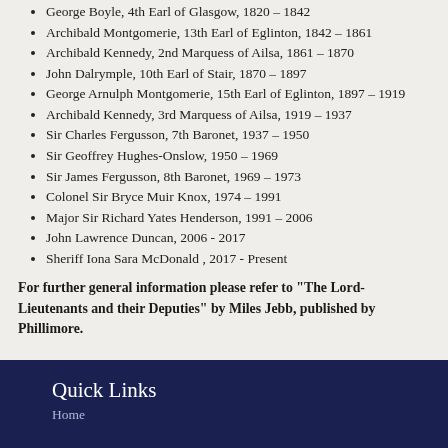George Boyle, 4th Earl of Glasgow, 1820 – 1842
Archibald Montgomerie, 13th Earl of Eglinton, 1842 – 1861
Archibald Kennedy, 2nd Marquess of Ailsa, 1861 – 1870
John Dalrymple, 10th Earl of Stair, 1870 – 1897
George Arnulph Montgomerie, 15th Earl of Eglinton, 1897 – 1919
Archibald Kennedy, 3rd Marquess of Ailsa, 1919 – 1937
Sir Charles Fergusson, 7th Baronet, 1937 – 1950
Sir Geoffrey Hughes-Onslow, 1950 – 1969
Sir James Fergusson, 8th Baronet, 1969 – 1973
Colonel Sir Bryce Muir Knox, 1974 – 1991
Major Sir Richard Yates Henderson, 1991 – 2006
John Lawrence Duncan, 2006 - 2017
Sheriff Iona Sara McDonald , 2017 - Present
For further general information please refer to "The Lord-Lieutenants and their Deputies" by Miles Jebb, published by Phillimore.
Quick Links
Home